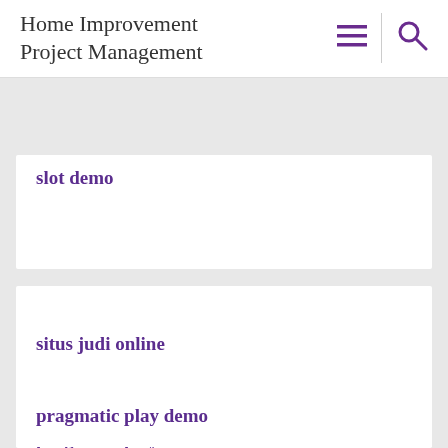Home Improvement Project Management
slot demo
situs judi online
pragmatic play demo